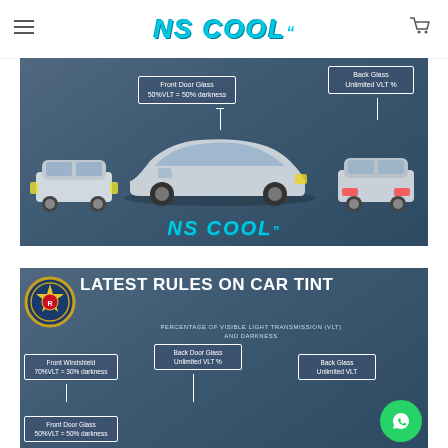NS COOL (logo header with hamburger menu and cart icon)
[Figure (infographic): Car tint infographic showing Toyota C-HR from front, side and rear views with labeled callout boxes: 'Front Door Glass 50%VLT = 50% darkness' and 'Back Glass Unlimited VLT %'. NS COOL logo watermark at bottom center.]
[Figure (infographic): Latest Rules on Car Tint infographic with Malaysian police/traffic badge logo. Title: LATEST RULES ON CAR TINT. Subtitle: PERCENTAGE OF VISIBLE LIGHT TRANSMISSION (VLT) AND DARKNESS. Callout boxes: Front Windshield 70%VLT = 30% darkness, Back Door Glass Unlimited VLT %, Back Glass Unlimited VLT, Front Door Glass 50%VLT = 50% darkness. WhatsApp green circle button at bottom right.]